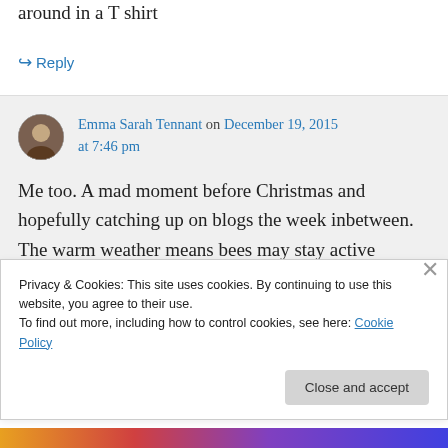around in a T shirt
↳ Reply
Emma Sarah Tennant on December 19, 2015 at 7:46 pm
Me too. A mad moment before Christmas and hopefully catching up on blogs the week inbetween. The warm weather means bees may stay active through winter using
Privacy & Cookies: This site uses cookies. By continuing to use this website, you agree to their use.
To find out more, including how to control cookies, see here: Cookie Policy
Close and accept